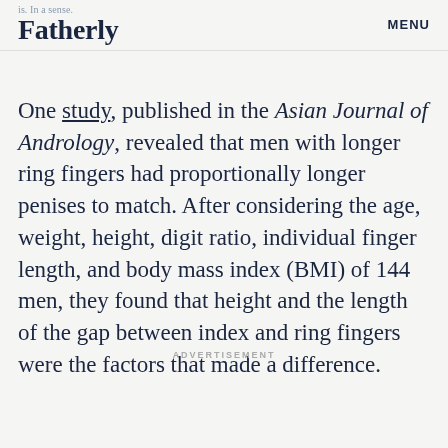is. In a sense. Fatherly MENU
One study, published in the Asian Journal of Andrology, revealed that men with longer ring fingers had proportionally longer penises to match. After considering the age, weight, height, digit ratio, individual finger length, and body mass index (BMI) of 144 men, they found that height and the length of the gap between index and ring fingers were the factors that made a difference.
ADVERTISEMENT